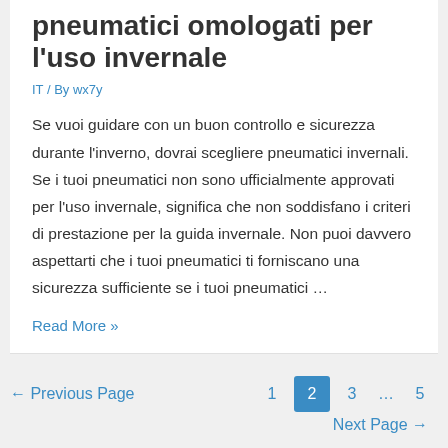pneumatici omologati per l'uso invernale
IT / By wx7y
Se vuoi guidare con un buon controllo e sicurezza durante l'inverno, dovrai scegliere pneumatici invernali. Se i tuoi pneumatici non sono ufficialmente approvati per l'uso invernale, significa che non soddisfano i criteri di prestazione per la guida invernale. Non puoi davvero aspettarti che i tuoi pneumatici ti forniscano una sicurezza sufficiente se i tuoi pneumatici …
Read More »
← Previous Page   1   2   3   …   5   Next Page →